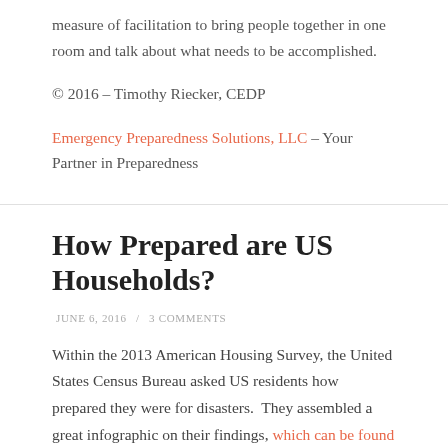measure of facilitation to bring people together in one room and talk about what needs to be accomplished.
© 2016 – Timothy Riecker, CEDP
Emergency Preparedness Solutions, LLC – Your Partner in Preparedness
How Prepared are US Households?
JUNE 6, 2016 / 3 COMMENTS
Within the 2013 American Housing Survey, the United States Census Bureau asked US residents how prepared they were for disasters.  They assembled a great infographic on their findings, which can be found